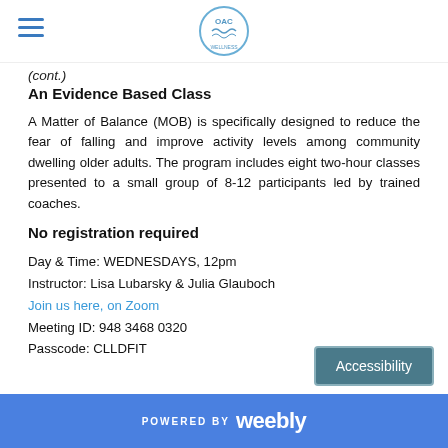OAC [logo with navigation hamburger menu]
(cont.)
An Evidence Based Class
A Matter of Balance (MOB) is specifically designed to reduce the fear of falling and improve activity levels among community dwelling older adults. The program includes eight two-hour classes presented to a small group of 8-12 participants led by trained coaches.
No registration required
Day & Time: WEDNESDAYS, 12pm
Instructor: Lisa Lubarsky & Julia Glauboch
Join us here, on Zoom
Meeting ID: 948 3468 0320
Passcode: CLLDFIT
POWERED BY weebly